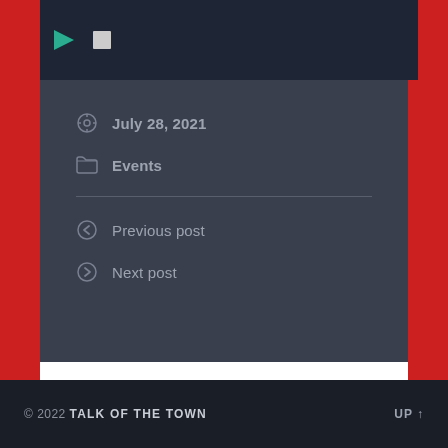[Figure (screenshot): Dark header area with media player icons (play triangle, stop square) on dark navy background]
July 28, 2021
Events
Previous post
Next post
COMMENTS ARE CLOSED.
© 2022 TALK OF THE TOWN   UP ↑